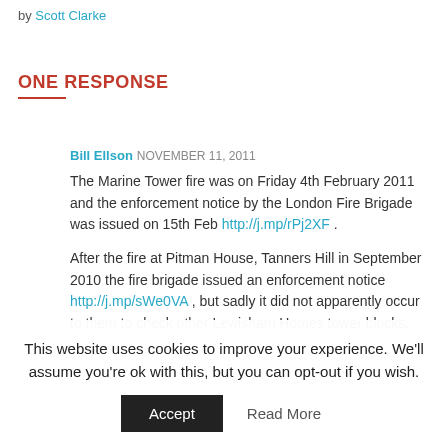by Scott Clarke
ONE RESPONSE
Bill Ellson NOVEMBER 11, 2011
The Marine Tower fire was on Friday 4th February 2011 and the enforcement notice by the London Fire Brigade was issued on 15th Feb http://j.mp/rPj2XF .
After the fire at Pitman House, Tanners Hill in September 2010 the fire brigade issued an enforcement notice http://j.mp/sWe0VA , but sadly it did not apparently occur to them to check other Lewisham Homes tower blocks.
This website uses cookies to improve your experience. We'll assume you're ok with this, but you can opt-out if you wish. Accept Read More